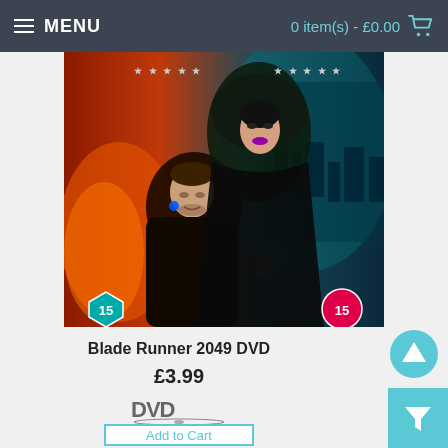MENU  |  0 item(s) - £0.00
[Figure (photo): Blade Runner 2049 DVD cover art showing two characters against a red and teal sci-fi cityscape background, with age rating 15 badges in bottom corners]
Blade Runner 2049 DVD
£3.99
[Figure (logo): DVD logo]
Add to Cart